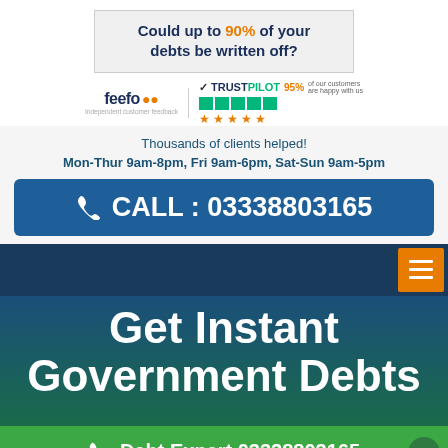[Figure (infographic): Advertisement banner asking 'Could up to 90% of your debts be written off?' with Feefo and Trustpilot trust badges showing 95% customer satisfaction]
Thousands of clients helped!
Mon-Thur 9am-8pm, Fri 9am-6pm, Sat-Sun 9am-5pm
CALL : 03338803165
[Figure (screenshot): Dark blue navigation bar with orange hamburger menu icon on the right]
Get Instant Government Debts
Debt Expert 03338803165